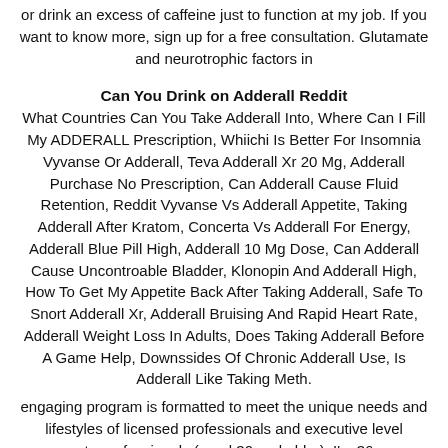or drink an excess of caffeine just to function at my job. If you want to know more, sign up for a free consultation. Glutamate and neurotrophic factors in
Can You Drink on Adderall Reddit
What Countries Can You Take Adderall Into, Where Can I Fill My ADDERALL Prescription, Whiichi Is Better For Insomnia Vyvanse Or Adderall, Teva Adderall Xr 20 Mg, Adderall Purchase No Prescription, Can Adderall Cause Fluid Retention, Reddit Vyvanse Vs Adderall Appetite, Taking Adderall After Kratom, Concerta Vs Adderall For Energy, Adderall Blue Pill High, Adderall 10 Mg Dose, Can Adderall Cause Uncontroable Bladder, Klonopin And Adderall High, How To Get My Appetite Back After Taking Adderall, Safe To Snort Adderall Xr, Adderall Bruising And Rapid Heart Rate, Adderall Weight Loss In Adults, Does Taking Adderall Before A Game Help, Downssides Of Chronic Adderall Use, Is Adderall Like Taking Meth.
engaging program is formatted to meet the unique needs and lifestyles of licensed professionals and executive level corporate professionals (aged 30 and older). I'm 36 years young and I had never felt like I was at the same game as my peers. Have a great day everyone. the best results from your medicines, at the lowest possible price. Yes, bipolar disorder and ADHD do .